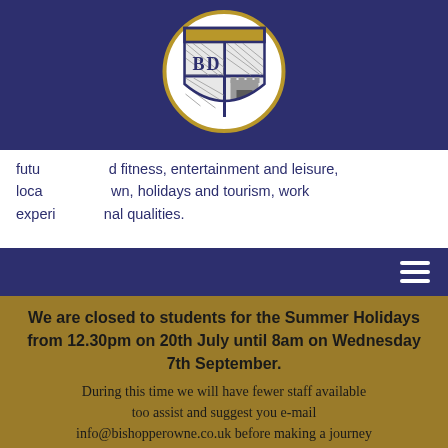[Figure (logo): Bishop Rowne school crest logo in a circular gold-bordered frame on a dark navy background]
futu... d fitness, entertainment and leisure, loca... wn, holidays and tourism, work experi... nal qualities.
We are closed to students for the Summer Holidays from 12.30pm on 20th July until 8am on Wednesday 7th September. During this time we will have fewer staff available too assist and suggest you e-mail info@bishopperowne.co.uk before making a journey to visit us.